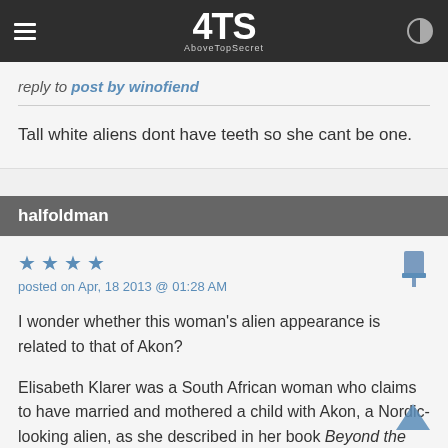[Figure (logo): AboveTopSecret (4TS) website logo in white on dark grey navigation bar with hamburger menu and brightness icon]
reply to post by winofiend
Tall white aliens dont have teeth so she cant be one.
halfoldman
posted on Apr, 18 2013 @ 01:28 AM
I wonder whether this woman's alien appearance is related to that of Akon?

Elisabeth Klarer was a South African woman who claims to have married and mothered a child with Akon, a Nordic-looking alien, as she described in her book Beyond the Light Barrier (1980).
At the time Klarer became celebrated by the international UFO community in the 1970s one could still be very creative